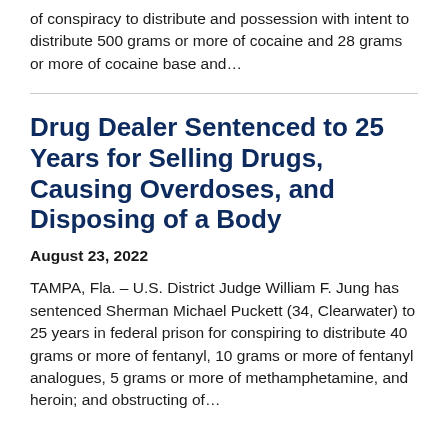of conspiracy to distribute and possession with intent to distribute 500 grams or more of cocaine and 28 grams or more of cocaine base and…
Drug Dealer Sentenced to 25 Years for Selling Drugs, Causing Overdoses, and Disposing of a Body
August 23, 2022
TAMPA, Fla. – U.S. District Judge William F. Jung has sentenced Sherman Michael Puckett (34, Clearwater) to 25 years in federal prison for conspiring to distribute 40 grams or more of fentanyl, 10 grams or more of fentanyl analogues, 5 grams or more of methamphetamine, and heroin; and obstructing of…